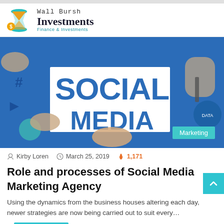Wall Bursh Investments — Finance & Investments
[Figure (photo): Photo showing 'SOCIAL MEDIA' text in large blue letters on a white paper/board, with hands visible holding a pen and papers, business context]
Kirby Loren   March 25, 2019   1,171
Role and processes of Social Media Marketing Agency
Using the dynamics from the business houses altering each day, newer strategies are now being carried out to suit every…